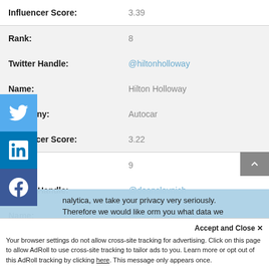| Field | Value |
| --- | --- |
| Influencer Score: | 3.39 |
| Rank: | 8 |
| Twitter Handle: | @hiltonholloway |
| Name: | Hilton Holloway |
| Company: | Autocar |
| Influencer Score: | 3.22 |
| Rank: | 9 |
| Twitter Handle: | @deanslavnich |
| Name: | Dean Slavnich |
nalytica, we take your privacy very seriously. Therefore we would like orm you what data we collect, as well as when and how we deal with personal information. To learn more, read our Privacy and Cookie Policy. If you have any questions, don't hesitate to contact us.
Accept and Close ×
Your browser settings do not allow cross-site tracking for advertising. Click on this page to allow AdRoll to use cross-site tracking to tailor ads to you. Learn more or opt out of this AdRoll tracking by clicking here. This message only appears once.